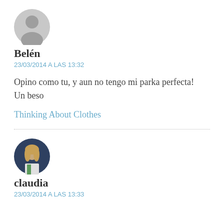[Figure (illustration): Generic grey user avatar circle icon for commenter Belén]
Belén
23/03/2014 A LAS 13:32
Opino como tu, y aun no tengo mi parka perfecta! Un beso
Thinking About Clothes
[Figure (photo): Circular profile photo of claudia, a woman with long blonde hair, dark blue background]
claudia
23/03/2014 A LAS 13:33